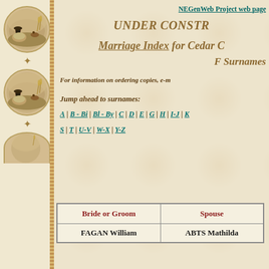[Figure (illustration): Decorative sidebar with two circular medallion illustrations of a woman in Victorian dress sitting near a horse and rider, with wheat/grass decorations, on a cream and tan patterned background with rope border]
NEGenWeb Project web page
UNDER CONSTR[UCTION]
Marriage Index for Cedar C[ounty]
F Surnames
For information on ordering copies, e-m[ail]
Jump ahead to surnames:
A | B - Bi | Bl - By | C | D | E | G | H | I-J | K | [L | M | N | O | P | Q | R] | S | T | U-V | W-X | Y-Z
| Bride or Groom | Spouse |
| --- | --- |
| FAGAN William | ABTS Mathilda |